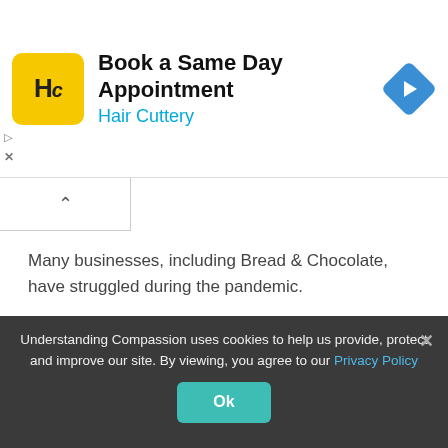[Figure (screenshot): Hair Cuttery advertisement banner with yellow logo, title 'Book a Same Day Appointment', subtitle 'Hair Cuttery', and a blue navigation arrow icon on the right]
Many businesses, including Bread & Chocolate, have struggled during the pandemic.
“As we all know, businesses have suffered over the last year, small businesses in particular, and we are no exception,” Krystina said. “But Franz is very proud in the
Understanding Compassion uses cookies to help us provide, protect and improve our site. By viewing, you agree to our Privacy Policy